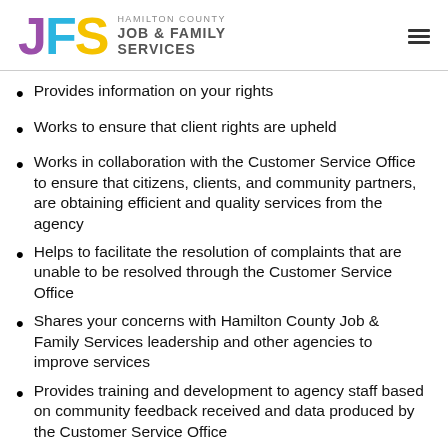Hamilton County Job & Family Services
Provides information on your rights
Works to ensure that client rights are upheld
Works in collaboration with the Customer Service Office to ensure that citizens, clients, and community partners, are obtaining efficient and quality services from the agency
Helps to facilitate the resolution of complaints that are unable to be resolved through the Customer Service Office
Shares your concerns with Hamilton County Job & Family Services leadership and other agencies to improve services
Provides training and development to agency staff based on community feedback received and data produced by the Customer Service Office
Provides access to the agency's appeal process if you